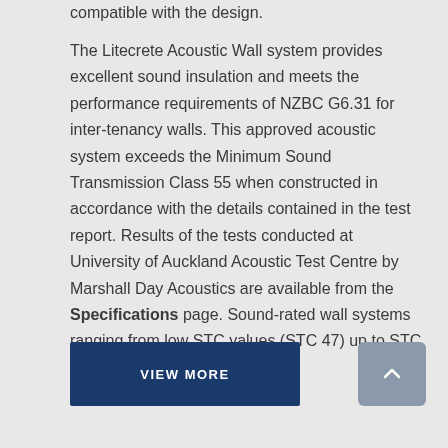compatible with the design. The Litecrete Acoustic Wall system provides excellent sound insulation and meets the performance requirements of NZBC G6.31 for inter-tenancy walls. This approved acoustic system exceeds the Minimum Sound Transmission Class 55 when constructed in accordance with the details contained in the test report. Results of the tests conducted at University of Auckland Acoustic Test Centre by Marshall Day Acoustics are available from the Specifications page. Sound-rated wall systems ranging from low STC values (STC 47) up to STC 60 are available.